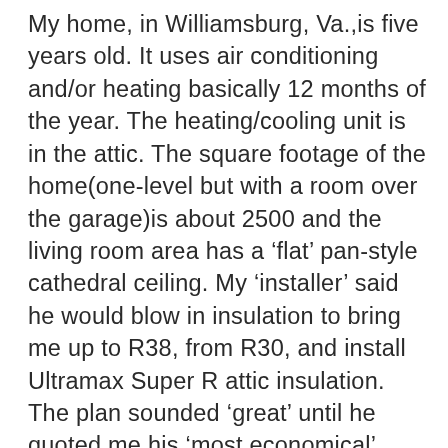My home, in Williamsburg, Va.,is five years old. It uses air conditioning and/or heating basically 12 months of the year. The heating/cooling unit is in the attic. The square footage of the home(one-level but with a room over the garage)is about 2500 and the living room area has a ‘flat’ pan-style cathedral ceiling. My ‘installer’ said he would blow in insulation to bring me up to R38, from R30, and install Ultramax Super R attic insulation. The plan sounded ‘great’ until he quoted me his ‘most economical’ price for the job, which guarantees a 25% energy savings, at almost....$6,000!!!! Am I out-of-touch with prices or do you too think this is a TAD hefty a price?